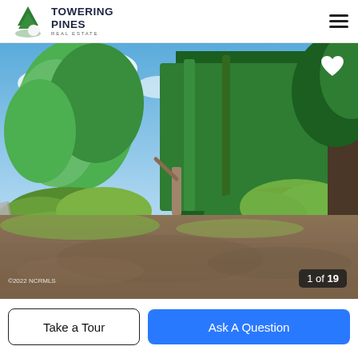Towering Pines Real Estate
[Figure (photo): Outdoor photo of a wooded vacant lot with tall trees, green shrubs, open cleared ground with mulch/dirt, a road visible on the left side, and blue sky with clouds in background. Watermark reads '©2022 NCRMLS'. Counter shows '1 of 19'.]
Take a Tour
Ask A Question